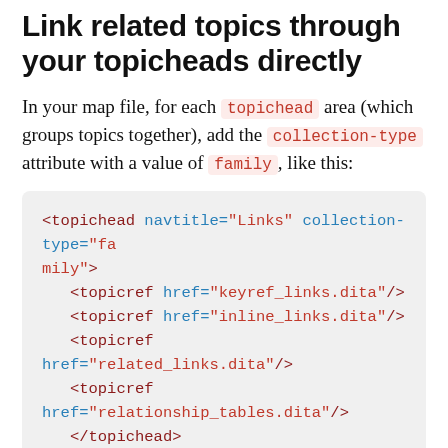Link related topics through your topicheads directly
In your map file, for each topichead area (which groups topics together), add the collection-type attribute with a value of family, like this:
[Figure (screenshot): Code block showing XML snippet: <topichead navtitle="Links" collection-type="family"> with four topicref child elements for keyref_links.dita, inline_links.dita, related_links.dita, relationship_tables.dita, and closing </topichead> tag.]
All of the topics in this group will link to each other via related links at the bottom (just like with relationship tables). You don't have to